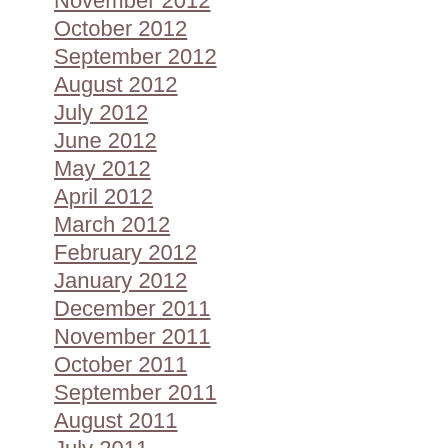November 2012
October 2012
September 2012
August 2012
July 2012
June 2012
May 2012
April 2012
March 2012
February 2012
January 2012
December 2011
November 2011
October 2011
September 2011
August 2011
July 2011
June 2011
April 2011